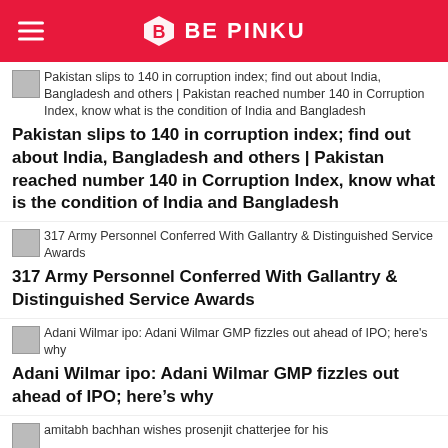BE PINKU
Pakistan slips to 140 in corruption index; find out about India, Bangladesh and others | Pakistan reached number 140 in Corruption Index, know what is the condition of India and Bangladesh
Pakistan slips to 140 in corruption index; find out about India, Bangladesh and others | Pakistan reached number 140 in Corruption Index, know what is the condition of India and Bangladesh
317 Army Personnel Conferred With Gallantry & Distinguished Service Awards
317 Army Personnel Conferred With Gallantry & Distinguished Service Awards
Adani Wilmar ipo: Adani Wilmar GMP fizzles out ahead of IPO; here's why
Adani Wilmar ipo: Adani Wilmar GMP fizzles out ahead of IPO; here’s why
amitabh bachhan wishes prosenjit chatterjee for his